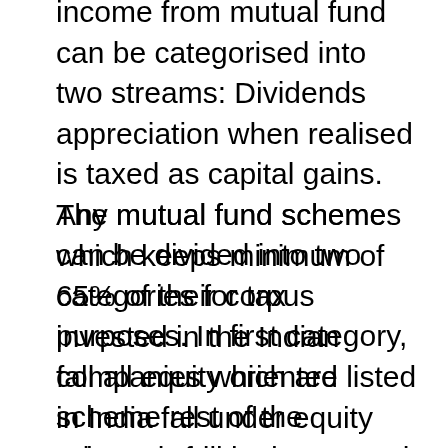income from mutual fund can be categorised into two streams: Dividends appreciation when realised is taxed as capital gains. The mutual fund schemes can be divided into two categories for tax purposes. In first category, fall all equity oriented scheme rest of the schemes fall in the second category.
Any mutual fund scheme which keeps minimum of 65% of their corpus invested in the Indian companies which are listed in India fall under equity oriented schemes. Likewise, any fund which invests minimum 90% of its corpus in an ETF which in turn invests minimum of 90% of its corpus in these companies is also treated like equity oriented schemes. One of the popular scheme amongst taxpayers ELSS eligible for deduction under Section 80C, falls under this category. By this definition all aggressive hybrid funds which maintain their minimum 65% investment in such companies are treated as equity oriented schemes. All other schemes